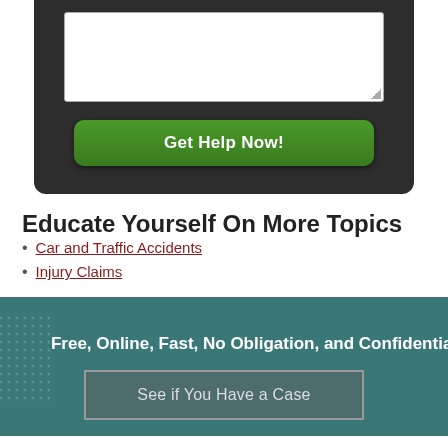[Figure (screenshot): Dark panel with white textarea input box and green 'Get Help Now!' button]
Educate Yourself On More Topics
Car and Traffic Accidents
Injury Claims
Free, Online, Fast, No Obligation, and Confidential
See if You Have a Case